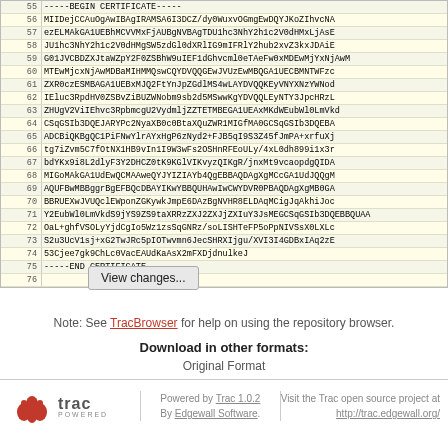| Line | Code |
| --- | --- |
| 55 | -----BEGIN CERTIFICATE----- |
| 56 | MIIDejCCAuOgAwIBAgIRAMSA6I3DCZ/dy0WuxvOGmgEwDQYJKoZIhvcNA |
| 57 | ezELMAkGA1UEBhMCVVMxFjAUBgNVBAgTDU1hc3NhY2h1c2V0dHMxLjAsE |
| 58 | JU1hc3NhY2h1c2V0dHMgSW5zdGl0dXRlIG9mIFRlY2hub2xvZ3kxJDAiE |
| 59 | G01JVCBDZXJtaWZpY2F0ZSBhW9uIEF1dGhvcml0eTAeFw0xMDEwMjYxNjAwM |
| 60 | MTEwMjcxNjAwMDBaMIHMMQswCQYDVQQGEwJVUzEwMBQGA1UECBMNTWFzc |
| 61 | ZXR0czESMBAGA1UEBxMJQ2FtYnJpZGdlMS4wLAYDVQQKEyVNYXNzYWNod |
| 62 | IEluc3RpdHV0ZSBvZiBUZWNobm9sb2d5MSwwKgYDVQQLEyNTY3JpcHRzL |
| 63 | ZHUgV2ViIEhvc3RpbmcgU2VydmljZZTETMBEGA1UEAxMKdWEubWl0LmVkd |
| 64 | CSqGSIb3DQEJARYPc2NyaXB0c0BtaXQuZWR1MIGfMA0GCSqGSIb3DQEBA |
| 65 | ADCBiQKBgQC1PiFNwYlrAYxHgP6zNyd2+FJB5qI9S3Z45fJmPA+xrfuXj |
| 66 | tg7iZvm5C7fOtNX1HB9vIn1I9W3wFs2OSHnRFEoULy/4xL0dh899i1x3r |
| 67 | bdYKx9i8L2dlyF3Y2DHCZ0tK9KGlVIKvyzQIKgR/jnxMt9vcaopdgQIDA |
| 68 | MIGoMAkGA1UdEwQCMAAweQYJYIZIAYb4QgEBBAQDAgXgMCcGA1UdJQQgM |
| 69 | AQUFBwMBBggrBgEFBQcDBAYIKwYBBQUHAwIwCWYDVR0PBAQDAgXgMB0GA |
| 70 | BBRUEXwJVUQclEWponZGKywkJmpE6DAzBgNVHR8ELDAqMCigJqAkhiJoc |
| 71 | Y2EubWl0LmVkdS9jYS9ZS9taXRRzZXJ2ZXJjZXIuY3JsMEGCSqGSIb3DQEBBQUAA |
| 72 | OaL+ghfVSOLyYjdCgIo5Wz1zsSqGNRz/soLISHTeFP5oPpNIVSsX0LXLc |
| 73 | S2u3UcV1sj+xG2TwJRc5pIOTwvmn6JecSHRXIjgu/XVI3I4GDBxIAq2zE |
| 74 | 53Cjee7gk9ChLc0VacEAUdKaAsX2mFXDjdnulkeJ |
| 75 | -----END CERTIFICATE----- |
| 76 |  |
View changes...
Note: See TracBrowser for help on using the repository browser.
Download in other formats:
Original Format
Powered by Trac 1.0.2 By Edgewall Software. Visit the Trac open source project at http://trac.edgewall.org/